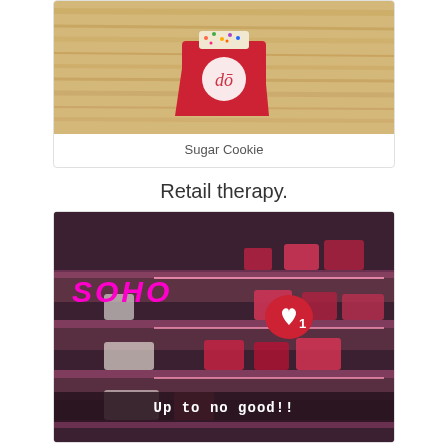[Figure (photo): Red cup with 'do' cookie dough logo on a wooden surface, topped with colorful sprinkles]
Sugar Cookie
Retail therapy.
[Figure (photo): Pink-lit retail store shelves with handbags and accessories, with 'SOHO' text overlay, a notification icon, and 'Up to no good!!' caption overlay]